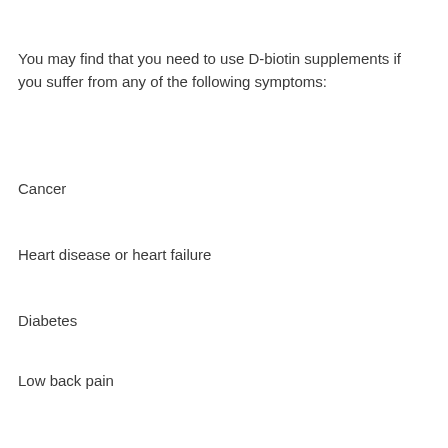You may find that you need to use D-biotin supplements if you suffer from any of the following symptoms:
Cancer
Heart disease or heart failure
Diabetes
Low back pain
Heart muscle wasting (a precursor to heart attack)
Diabetes is the result of low glucose levels, decadurabolin inyeccion. The body's cells are unable to properly use glucose for fuel, anavar and clenbuterol before and after. Low blood sugar prevents the cells from burning fat and burning it with glucose on the...